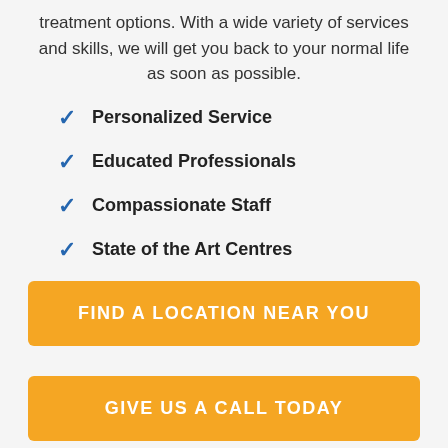treatment options. With a wide variety of services and skills, we will get you back to your normal life as soon as possible.
Personalized Service
Educated Professionals
Compassionate Staff
State of the Art Centres
FIND A LOCATION NEAR YOU
GIVE US A CALL TODAY